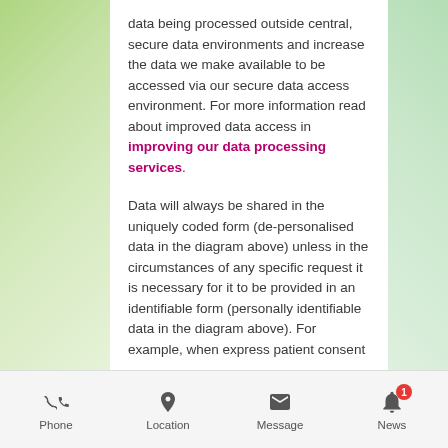data being processed outside central, secure data environments and increase the data we make available to be accessed via our secure data access environment. For more information read about improved data access in improving our data processing services.
Data will always be shared in the uniquely coded form (de-personalised data in the diagram above) unless in the circumstances of any specific request it is necessary for it to be provided in an identifiable form (personally identifiable data in the diagram above). For example, when express patient consent has been given to a researcher to link patient data from the General Practice for Planning and Research collection to data the researcher has already obtained from the patient.
It is therefore possible for NHS Digital to convert the
Phone   Location   Message   News